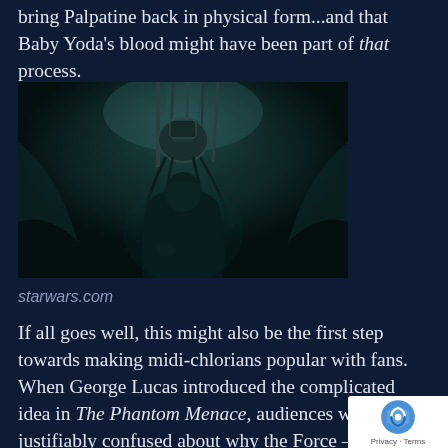bring Palpatine back in physical form...and that Baby Yoda's blood might have been part of that process.
[Figure (photo): Dark cinematic still from Star Wars showing a cloaked figure in a dimly lit chamber with mechanical apparatus and cables hanging above]
starwars.com
If all goes well, this might also be the first step towards making midi-chlorians popular with fans. When George Lucas introduced the complicated idea in The Phantom Menace, audiences were justifiably confused about why the Force – which, until that point, had seemed like an intangible, spiritual construct – suddenly had a nonsensical scientific explanation; one which seemed to